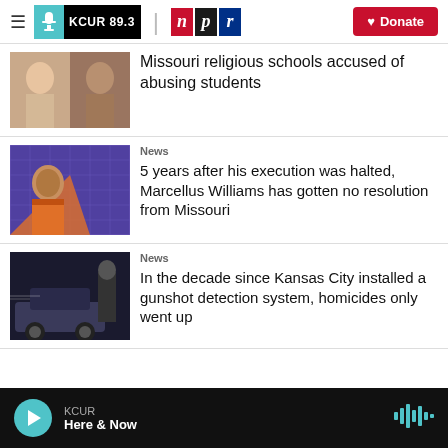KCUR 89.3 | npr | Donate
[Figure (photo): Two mugshot-style portraits side by side]
Missouri religious schools accused of abusing students
News
[Figure (photo): Man in orange jumpsuit against blue grid background]
5 years after his execution was halted, Marcellus Williams has gotten no resolution from Missouri
News
[Figure (photo): Police officer near a car at night]
In the decade since Kansas City installed a gunshot detection system, homicides only went up
KCUR Here & Now